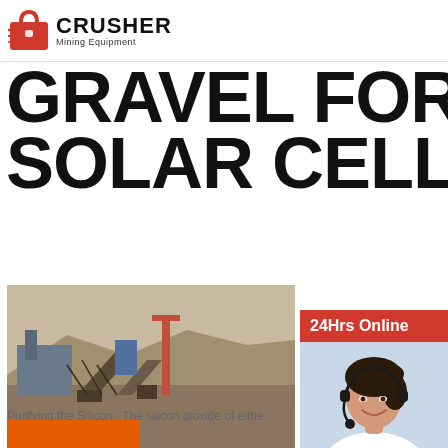[Figure (logo): Crusher Mining Equipment logo with red shopping bag icon and bold text]
GRAVEL FOR SOLAR CELL
[Figure (photo): Mining/crushing site with industrial equipment and machinery in an arid landscape]
Manufacturing of Solar Panels
Purifying the Silicon : The silicon dioxide of eithe...
[Figure (photo): Customer service representative with headset, 24Hrs Online sidebar]
Need questions & suggestion?
Chat Now
Enquiry
limingjlmofen@sina.com
[Figure (other): Orange bar at bottom left]